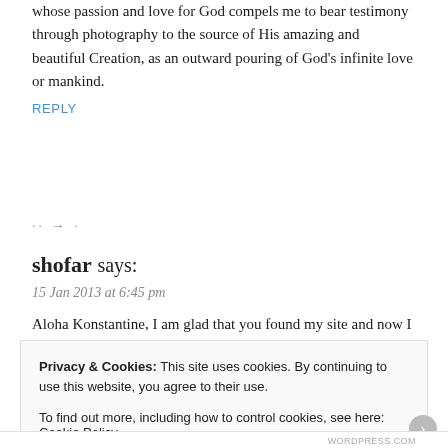whose passion and love for God compels me to bear testimony through photography to the source of His amazing and beautiful Creation, as an outward pouring of God's infinite love or mankind.
REPLY
· · →
shofar says:
15 Jan 2013 at 6:45 pm
Aloha Konstantine, I am glad that you found my site and now I have
Privacy & Cookies: This site uses cookies. By continuing to use this website, you agree to their use.
To find out more, including how to control cookies, see here: Cookie Policy
Close and accept